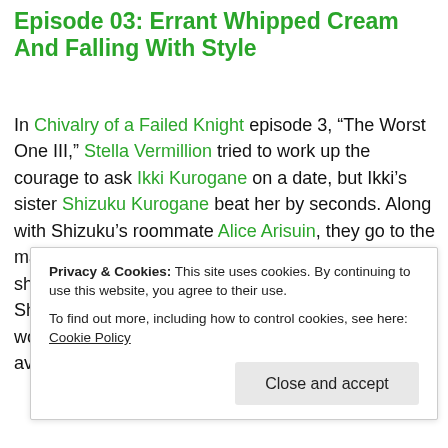Episode 03: Errant Whipped Cream And Falling With Style
In Chivalry of a Failed Knight episode 3, “The Worst One III,” Stella Vermillion tried to work up the courage to ask Ikki Kurogane on a date, but Ikki’s sister Shizuku Kurogane beat her by seconds. Along with Shizuku’s roommate Alice Arisuin, they go to the mall for what they hoped would be a carefree day of shopping. What they didn’t expect was for Stella and Shizuku to become hostages with dozens of other women and children while Ikki and Alice barely avoided being machine-
Privacy & Cookies: This site uses cookies. By continuing to use this website, you agree to their use.
To find out more, including how to control cookies, see here: Cookie Policy